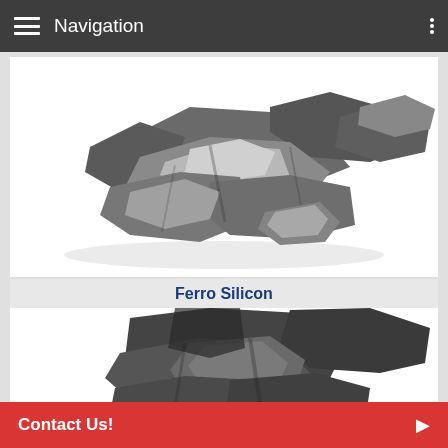Navigation
[Figure (photo): Pile of metallic silvery-gray Ferro Silicon rocks/chunks on white background]
Ferro Silicon
[Figure (photo): Pile of dark gray metallic rocks/chunks (ferroalloy material) on white background, partially visible]
Contact Us!